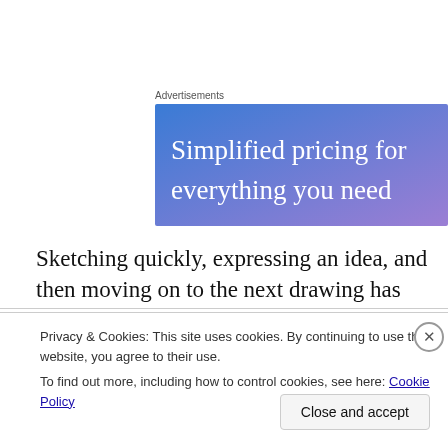Advertisements
[Figure (illustration): Advertisement banner with gradient background (blue to purple) and white text reading 'Simplified pricing for everything you need']
Sketching quickly, expressing an idea, and then moving on to the next drawing has allowed me to greatly improve from the level I was drawing at a few months ago.
Privacy & Cookies: This site uses cookies. By continuing to use this website, you agree to their use.
To find out more, including how to control cookies, see here: Cookie Policy
Close and accept